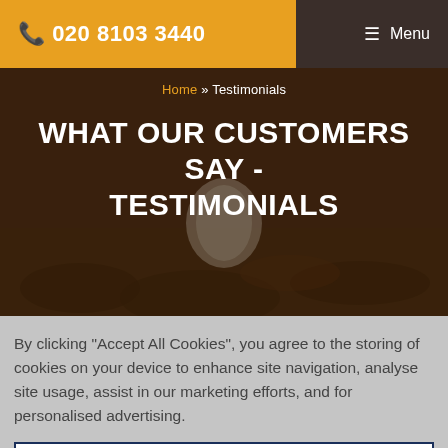📞 020 8103 3440  ☰ Menu
Home » Testimonials
WHAT OUR CUSTOMERS SAY - TESTIMONIALS
By clicking "Accept All Cookies", you agree to the storing of cookies on your device to enhance site navigation, analyse site usage, assist in our marketing efforts, and for personalised advertising.
More Information
Accept All Cookies